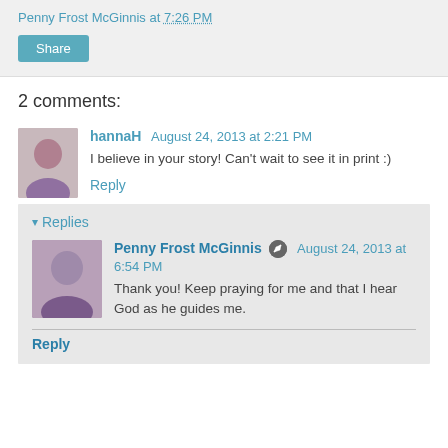Penny Frost McGinnis at 7:26 PM
Share
2 comments:
hannaH August 24, 2013 at 2:21 PM
I believe in your story! Can't wait to see it in print :)
Reply
Replies
Penny Frost McGinnis August 24, 2013 at 6:54 PM
Thank you! Keep praying for me and that I hear God as he guides me.
Reply